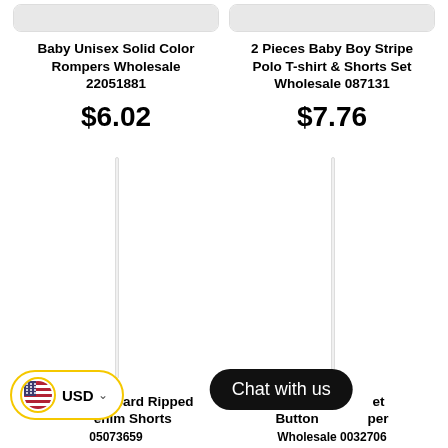[Figure (screenshot): Cropped product image top left - Baby Unisex Solid Color Rompers]
[Figure (screenshot): Cropped product image top right - 2 Pieces Baby Boy Stripe Polo T-shirt]
Baby Unisex Solid Color Rompers Wholesale 22051881
$6.02
2 Pieces Baby Boy Stripe Polo T-shirt & Shorts Set Wholesale 087131
$7.76
[Figure (photo): Product image placeholder - Kid Girl Leopard Ripped Denim Shorts]
[Figure (photo): Product image placeholder - Baby Button Romper]
Kid Girl Leopard Ripped Denim Shorts 05073659
Baby Button Romper Wholesale 0032706
[Figure (screenshot): Currency selector showing USD with US flag]
Chat with us